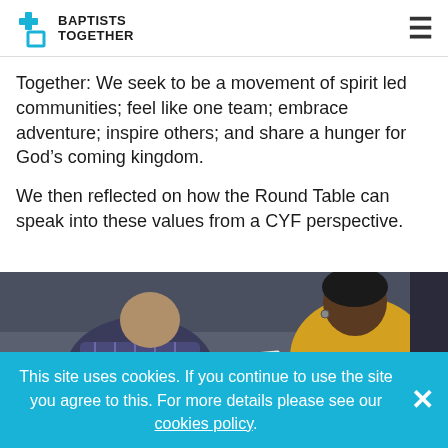BAPTISTS TOGETHER
Together: We seek to be a movement of spirit led communities; feel like one team; embrace adventure; inspire others; and share a hunger for God’s coming kingdom.
We then reflected on how the Round Table can speak into these values from a CYF perspective.
[Figure (photo): Two people sitting at a table, looking down at papers. One person wearing a plaid shirt, the other wearing a yellow top.]
This site uses cookies. If you continue to use the site you agree to this. For more details please see our cookies policy.